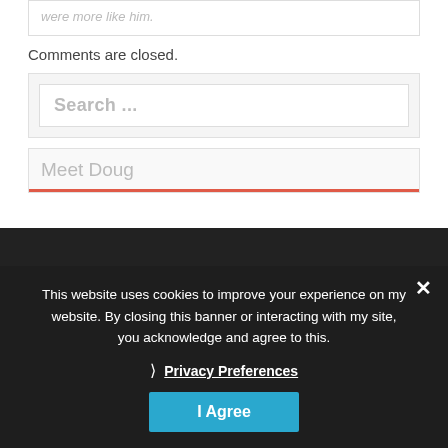were more like him.
Comments are closed.
Search ...
Meet Doug
This website uses cookies to improve your experience on my website. By closing this banner or interacting with my site, you acknowledge and agree to this.
Privacy Preferences
I Agree